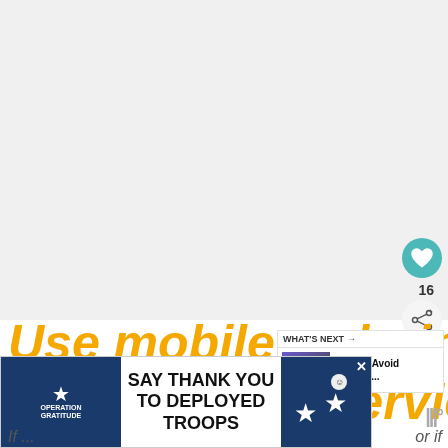[Figure (screenshot): Large blank/light grey area representing a webpage image or video area at the top of the page]
Use mobile ordering to save you time at quick service and casual service locations
[Figure (screenshot): WHAT'S NEXT panel with thumbnail image and text 'How To Avoid These 5...']
[Figure (screenshot): Advertisement banner: SAY THANK YOU TO DEPLOYED TROOPS - Operation Gratitude]
If ...or if